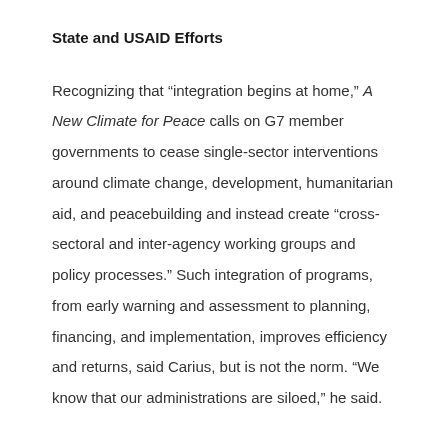State and USAID Efforts
Recognizing that “integration begins at home,” A New Climate for Peace calls on G7 member governments to cease single-sector interventions around climate change, development, humanitarian aid, and peacebuilding and instead create “cross-sectoral and inter-agency working groups and policy processes.” Such integration of programs, from early warning and assessment to planning, financing, and implementation, improves efficiency and returns, said Carius, but is not the norm. “We know that our administrations are siloed,” he said.